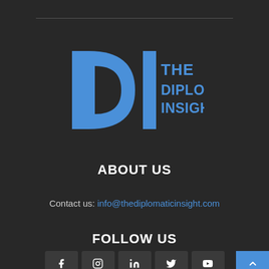[Figure (logo): The Diplomatic Insight logo — blue DI letters with vertical bar divider and text 'THE DIPLOMATIC INSIGHT' on dark background]
ABOUT US
Contact us: info@thediplomaticinsight.com
FOLLOW US
[Figure (infographic): Social media icons row: Facebook, Instagram, LinkedIn, Twitter/X, YouTube. Blue scroll-to-top arrow button at bottom right.]